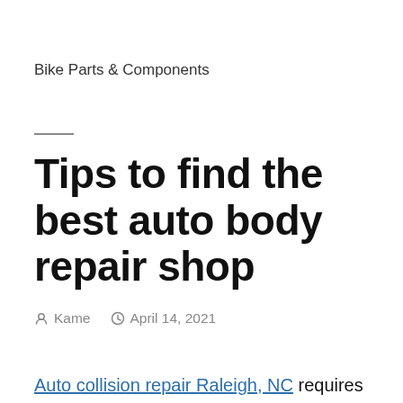Bike Parts & Components
Tips to find the best auto body repair shop
Kame   April 14, 2021
Auto collision repair Raleigh, NC requires specialized skills. That's something everyone